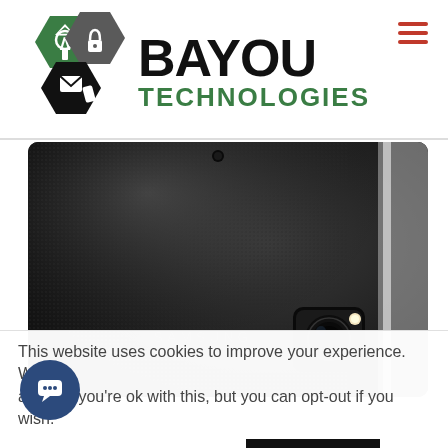[Figure (logo): Bayou Technologies logo with hexagon icons (green shield with tower, dark grey with lock, dark with envelope) and bold BAYOU TECHNOLOGIES text]
[Figure (photo): Close-up photo of the back of a Samsung smartphone (black textured cover with camera) lying on a flat surface]
This website uses cookies to improve your experience. We'll assume you're ok with this, but you can opt-out if you wish.
Cookie settings
ACCEPT